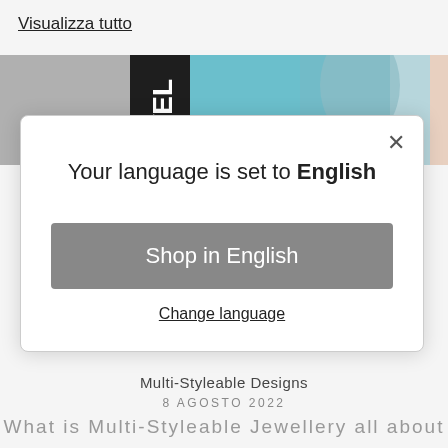Visualizza tutto
[Figure (screenshot): Website background strip showing grayscale image on left, dark panel with text 'WE' in center, and teal/colorful image on right]
Your language is set to English
Shop in English
Change language
Multi-Styleable Designs
8 AGOSTO 2022
What is Multi-Styleable Jewellery all about